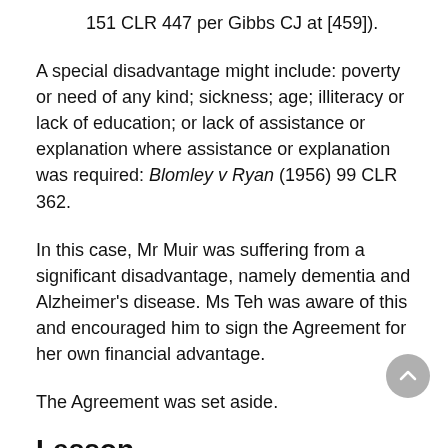151 CLR 447 per Gibbs CJ at [459]).
A special disadvantage might include: poverty or need of any kind; sickness; age; illiteracy or lack of education; or lack of assistance or explanation where assistance or explanation was required: Blomley v Ryan (1956) 99 CLR 362.
In this case, Mr Muir was suffering from a significant disadvantage, namely dementia and Alzheimer's disease. Ms Teh was aware of this and encouraged him to sign the Agreement for her own financial advantage.
The Agreement was set aside.
Lesson